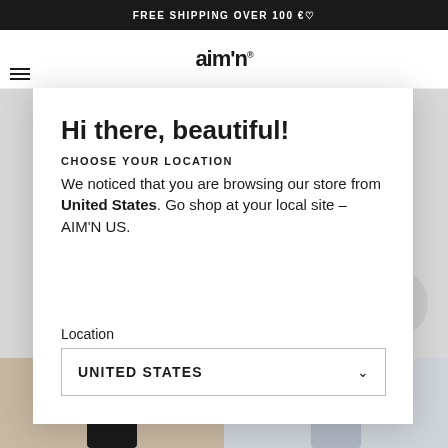FREE SHIPPING OVER 100 €♡
Hi there, beautiful!
CHOOSE YOUR LOCATION
We noticed that you are browsing our store from United States. Go shop at your local site - AIM'N US.
Location
UNITED STATES